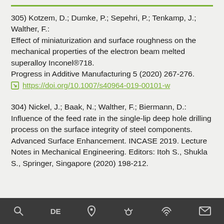305) Kotzem, D.; Dumke, P.; Sepehri, P.; Tenkamp, J.; Walther, F.: Effect of miniaturization and surface roughness on the mechanical properties of the electron beam melted superalloy Inconel®718. Progress in Additive Manufacturing 5 (2020) 267-276. https://doi.org/10.1007/s40964-019-00101-w
304) Nickel, J.; Baak, N.; Walther, F.; Biermann, D.: Influence of the feed rate in the single-lip deep hole drilling process on the surface integrity of steel components. Advanced Surface Enhancement. INCASE 2019. Lecture Notes in Mechanical Engineering. Editors: Itoh S., Shukla S., Springer, Singapore (2020) 198-212.
Search | DE | Location | Weather | Radio | Mail